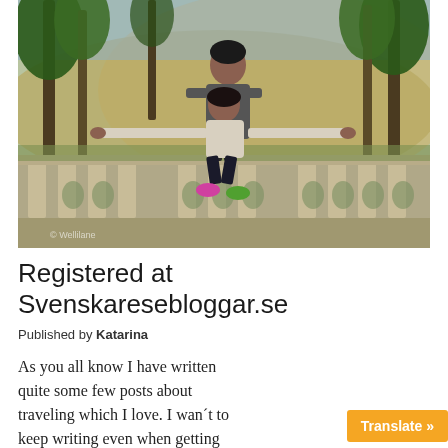[Figure (photo): Two people posing outdoors on a stone balcony or terrace surrounded by palm trees and sandy dunes in the background. One person stands behind with arms at sides smiling, the other crouches in front with arms spread wide. Lush greenery and desert dunes visible in background.]
Registered at Svenskaresebloggar.se
Published by Katarina
As you all know I have written quite some few posts about traveling which I love. I wan´t to keep writing even when getting back to Sweden and